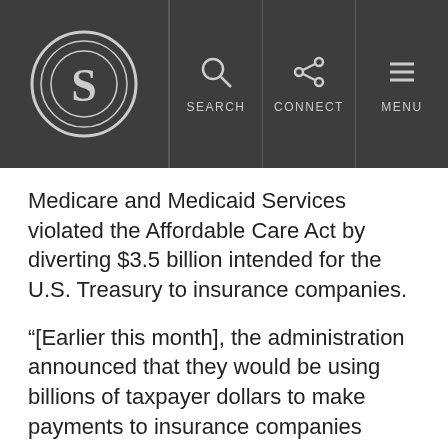S logo | SEARCH | CONNECT | MENU
Medicare and Medicaid Services violated the Affordable Care Act by diverting $3.5 billion intended for the U.S. Treasury to insurance companies.
“[Earlier this month], the administration announced that they would be using billions of taxpayer dollars to make payments to insurance companies under the Obamacare reinsurance program,” Rep. Joe Pitts, R-Penn., said Wednesday during a hearing with Department of Health and Human Services Secretary Sylvia Mathews Burwell.
“The announcement that the administration made represents an illegal wealth transfer from taxpayers to insurance companies,”…